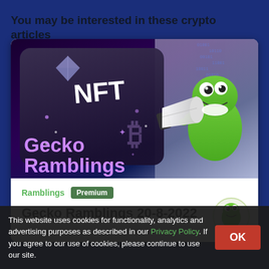You may be interested in these crypto articles
[Figure (illustration): Promotional card image showing NFT keyboard key with crypto symbols, 'Gecko Ramblings' text in purple, and a green gecko mascot holding a megaphone]
Ramblings  Premium
Gecko Ramblings 20-8-2022
This website uses cookies for functionality, analytics and advertising purposes as described in our Privacy Policy. If you agree to our use of cookies, please continue to use our site.